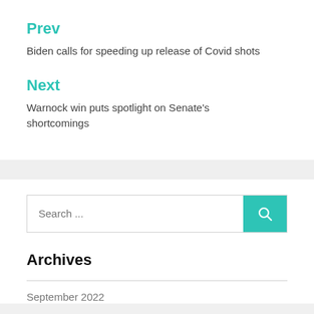Prev
Biden calls for speeding up release of Covid shots
Next
Warnock win puts spotlight on Senate's shortcomings
Search ...
Archives
September 2022